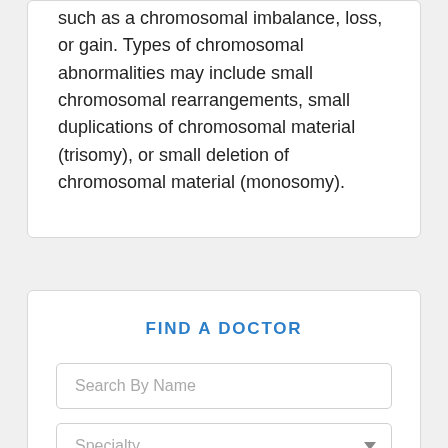such as a chromosomal imbalance, loss, or gain. Types of chromosomal abnormalities may include small chromosomal rearrangements, small duplications of chromosomal material (trisomy), or small deletion of chromosomal material (monosomy).
FIND A DOCTOR
Search By Name
Specialty